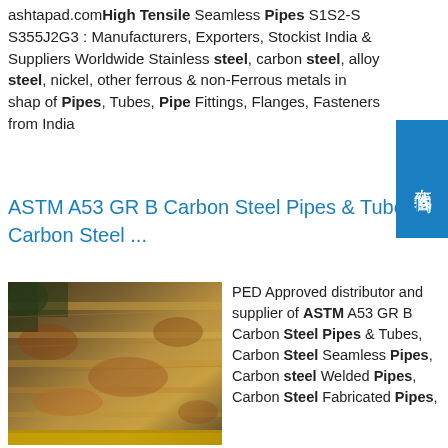ashtapad.com High Tensile Seamless Pipes S1S2-S S355J2G3 : Manufacturers, Exporters, Stockist India & Suppliers Worldwide Stainless steel, carbon steel, alloy steel, nickel, other ferrous & non-Ferrous metals in shape of Pipes, Tubes, Pipe Fittings, Flanges, Fasteners from India
ASTM A53 GR B Carbon Steel Pipes & Tubes| Carbon Steel ...
[Figure (photo): Photo of stacked carbon steel pipe/plate products with rust and yellow/brown coloring, industrial setting]
PED Approved distributor and supplier of ASTM A53 GR B Carbon Steel Pipes & Tubes, Carbon Steel Seamless Pipes, Carbon steel Welded Pipes, Carbon Steel Fabricated Pipes, Carbon Steel Square Pipe, API5L X-42 X-52 X-60 Seamless Pipe, ASTM A106/A53 pipes & Tubes in indiasp.info Carbon Steel Pipe – FerropipeAs the Carbon